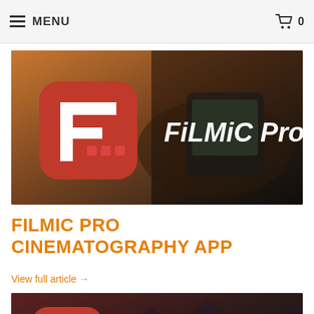MENU  🛒 0
[Figure (photo): FiLMiC Pro app promotional banner showing the red app icon with film strip design and 'FiLMiC Pro' text in white italic font over a dark background with someone holding a smartphone]
FILMIC PRO CINEMATOGRAPHY APP
View full article →
[Figure (photo): FiLMiC Firstlight app promotional banner showing a red circular app icon and 'FiLMiC Firstlight' text in white italic font over a dark mountain/landscape background]